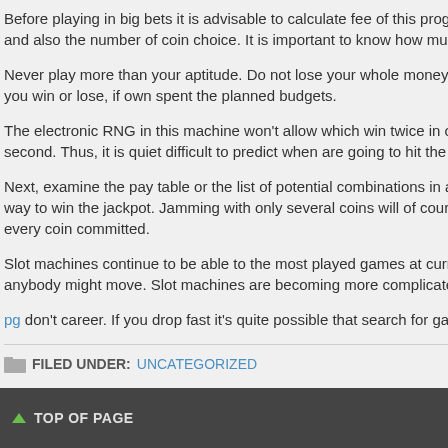Before playing in big bets it is advisable to calculate fee of this program per twist. Wh and also the number of coin choice. It is important to know how much it costs to play
Never play more than your aptitude. Do not lose your whole money engrossed. Alwa you win or lose, if own spent the planned budgets.
The electronic RNG in this machine won't allow which win twice in one machine 1 se second. Thus, it is quiet difficult to predict when are going to hit the jackpot once.
Next, examine the pay table or the list of potential combinations in addition to numbe way to win the jackpot. Jamming with only several coins will of course win you nothin every coin committed.
Slot machines continue to be able to the most played games at current times and pu anybody might move. Slot machines are becoming more complicated as technology
pg don't career. If you drop fast it's quite possible that search for gain it back (and mo
FILED UNDER: UNCATEGORIZED
TOP OF PAGE